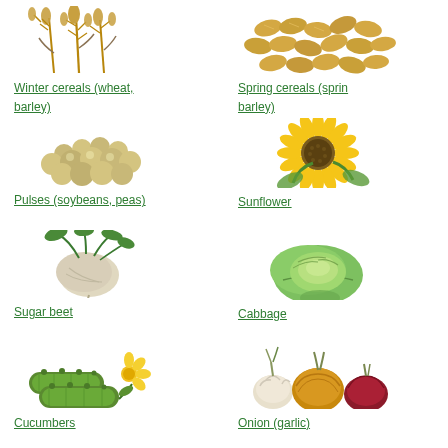[Figure (illustration): Wheat stalks, golden brown, winter cereals]
Winter cereals (wheat, barley)
[Figure (illustration): Spring barley grains, golden tan colored seeds]
Spring cereals (spring barley)
[Figure (illustration): Soybeans, pale green-yellow round legumes in a pile]
Pulses (soybeans, peas)
[Figure (illustration): Sunflower, bright yellow petals with green leaves]
Sunflower
[Figure (illustration): Sugar beet, pale root vegetable with green leaves]
Sugar beet
[Figure (illustration): Cabbage head, green leafy round vegetable]
Cabbage
[Figure (illustration): Cucumbers, dark green with yellow flower]
Cucumbers
[Figure (illustration): Onion and garlic bulbs, brown and purple varieties]
Onion (garlic)